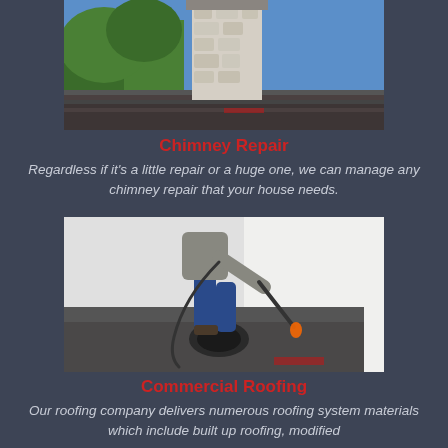[Figure (photo): Photo of a stone chimney on a rooftop with trees and blue sky in the background]
Chimney Repair
Regardless if it's a little repair or a huge one, we can manage any chimney repair that your house needs.
[Figure (photo): Photo of a worker rolling out flat roofing material on a commercial roof using a torch]
Commercial Roofing
Our roofing company delivers numerous roofing system materials which include built up roofing, modified